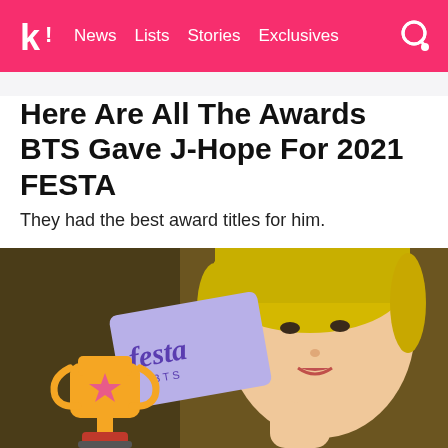k! News Lists Stories Exclusives
Here Are All The Awards BTS Gave J-Hope For 2021 FESTA
They had the best award titles for him.
[Figure (photo): J-Hope from BTS with blonde/yellow hair, posing thoughtfully with a hand near his chin. In the foreground, there is a colorful 'festa BTS' card graphic and an orange/gold trophy emoji sticker.]